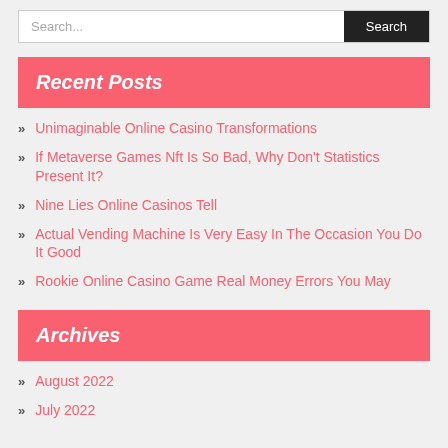Search...
Recent Posts
Unimaginable Online Casino Transformations
If Metaverse Games Nft Is So Bad, Why Don't Statistics Present It?
Nine Lies Online Casinos Tell
Actual Vending Machine Is Very Easy In The Occasion You Do It Good
Rookie Online Casino Game Real Money Errors You May
Archives
August 2022
July 2022